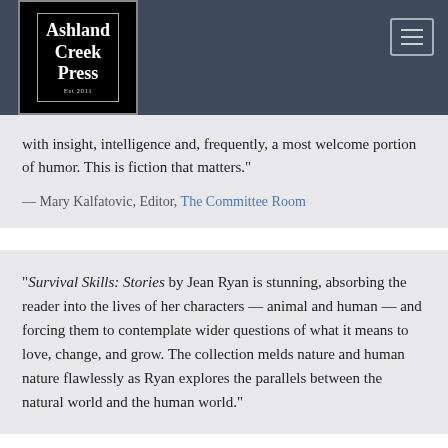[Figure (logo): Ashland Creek Press logo — white text on black square with thin border. Text reads 'Ashland Creek Press est. 2011']
with insight, intelligence and, frequently, a most welcome portion of humor. This is fiction that matters."
— Mary Kalfatovic, Editor, The Committee Room
"Survival Skills: Stories by Jean Ryan is stunning, absorbing the reader into the lives of her characters — animal and human — and forcing them to contemplate wider questions of what it means to love, change, and grow. The collection melds nature and human nature flawlessly as Ryan explores the parallels between the natural world and the human world."